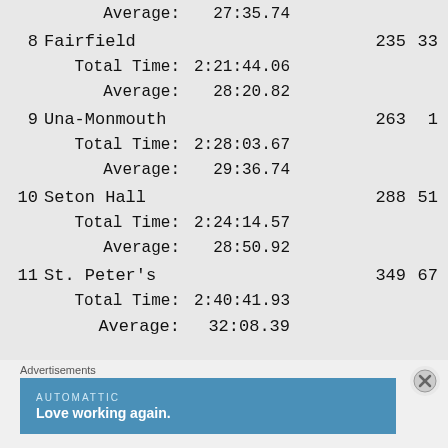| Place | Team | Score | Extra |
| --- | --- | --- | --- |
|  | Average: | 27:35.74 |  |
| 8 | Fairfield | 235 | 33 |
|  | Total Time: | 2:21:44.06 |  |
|  | Average: | 28:20.82 |  |
| 9 | Una-Monmouth | 263 | 1 |
|  | Total Time: | 2:28:03.67 |  |
|  | Average: | 29:36.74 |  |
| 10 | Seton Hall | 288 | 51 |
|  | Total Time: | 2:24:14.57 |  |
|  | Average: | 28:50.92 |  |
| 11 | St. Peter's | 349 | 67 |
|  | Total Time: | 2:40:41.93 |  |
|  | Average: | 32:08.39 |  |
Advertisements
[Figure (other): Automattic advertisement banner - Love working again.]